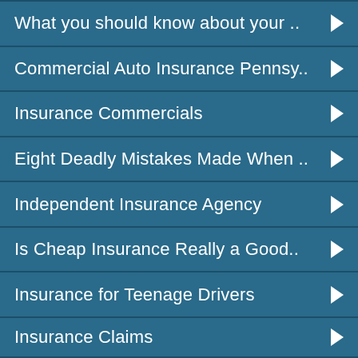What you should know about your ..
Commercial Auto Insurance Pennsy..
Insurance Commercials
Eight Deadly Mistakes Made When ..
Independent Insurance Agency
Is Cheap Insurance Really a Good..
Insurance for Teenage Drivers
Insurance Claims